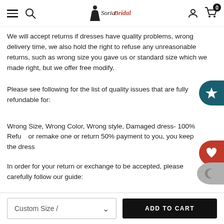SoriaBridal navigation bar with hamburger menu, search, logo, user icon, and cart (0)
We will accept returns if dresses have quality problems, wrong delivery time, we also hold the right to refuse any unreasonable returns, such as wrong size you gave us or standard size which we made right, but we offer free modify.
Please see following for the list of quality issues that are fully refundable for:
Wrong Size, Wrong Color, Wrong style, Damaged dress- 100% Refund or remake one or return 50% payment to you, you keep the dress.
In order for your return or exchange to be accepted, please carefully follow our guide: